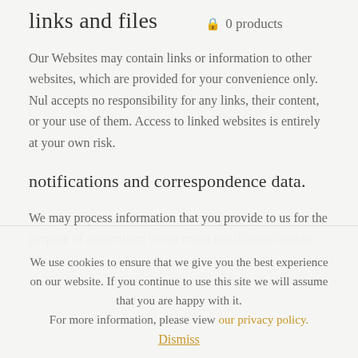links and files
🔒 0 products
Our Websites may contain links or information to other websites, which are provided for your convenience only. Nul accepts no responsibility for any links, their content, or your use of them. Access to linked websites is entirely at your own risk.
notifications and correspondence data.
We may process information that you provide to us for the purpose of subscribing to our email notifications and/or
We use cookies to ensure that we give you the best experience on our website. If you continue to use this site we will assume that you are happy with it. For more information, please view our privacy policy. Dismiss